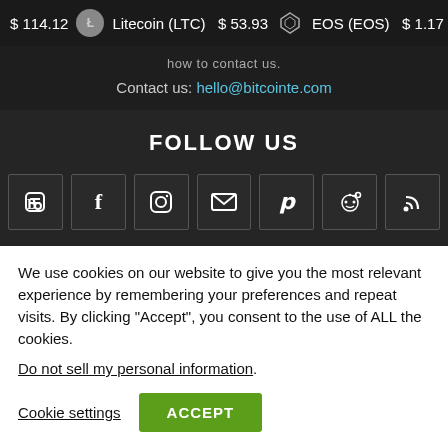$ 114.12   Litecoin (LTC)  $ 53.93   EOS (EOS)  $ 1.17
Contact us: hello@bitcointe.com
FOLLOW US
[Figure (infographic): Row of 7 social media icon buttons: Blogger, Facebook, Instagram, Email, Pinterest, Reddit, RSS]
We use cookies on our website to give you the most relevant experience by remembering your preferences and repeat visits. By clicking “Accept”, you consent to the use of ALL the cookies.
Do not sell my personal information.
Cookie settings   ACCEPT